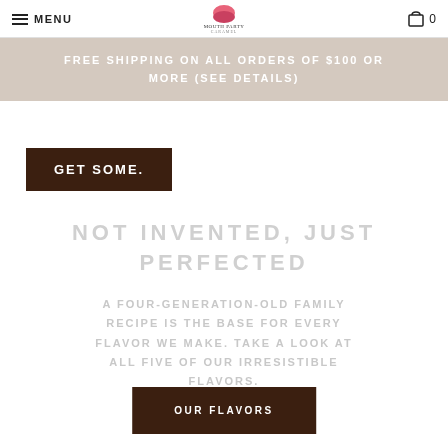MENU | Mouth Party Caramel Logo | Cart 0
caramel that you can snip from subscription plan or order a box. Your little man. Better. Before time and enjoy good...
FREE SHIPPING ON ALL ORDERS OF $100 OR MORE (SEE DETAILS)
GET SOME.
NOT INVENTED, JUST PERFECTED
A FOUR-GENERATION-OLD FAMILY RECIPE IS THE BASE FOR EVERY FLAVOR WE MAKE. TAKE A LOOK AT ALL FIVE OF OUR IRRESISTIBLE FLAVORS.
OUR FLAVORS